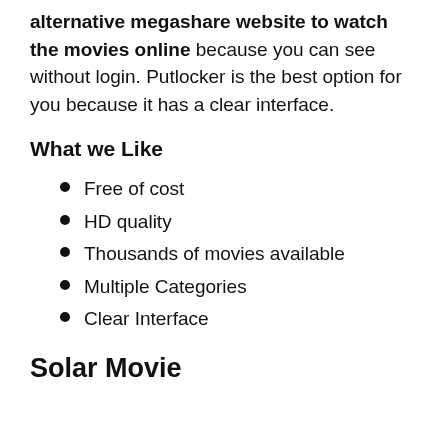alternative megashare website to watch the movies online because you can see without login. Putlocker is the best option for you because it has a clear interface.
What we Like
Free of cost
HD quality
Thousands of movies available
Multiple Categories
Clear Interface
Solar Movie